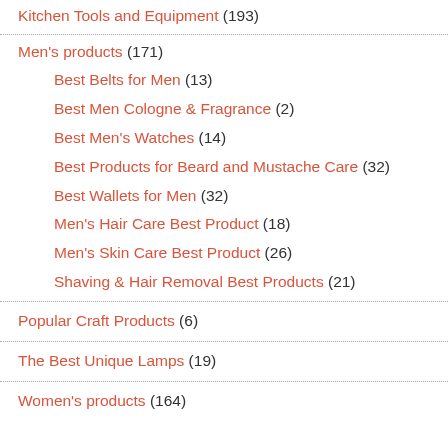Kitchen Tools and Equipment (193)
Men's products (171)
Best Belts for Men (13)
Best Men Cologne & Fragrance (2)
Best Men's Watches (14)
Best Products for Beard and Mustache Care (32)
Best Wallets for Men (32)
Men's Hair Care Best Product (18)
Men's Skin Care Best Product (26)
Shaving & Hair Removal Best Products (21)
Popular Craft Products (6)
The Best Unique Lamps (19)
Women's products (164)